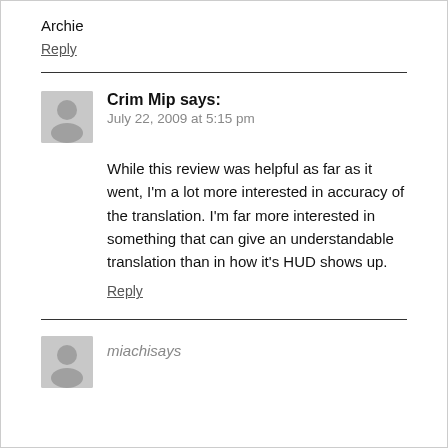Archie
Reply
Crim Mip says:
July 22, 2009 at 5:15 pm
While this review was helpful as far as it went, I'm a lot more interested in accuracy of the translation. I'm far more interested in something that can give an understandable translation than in how it's HUD shows up.
Reply